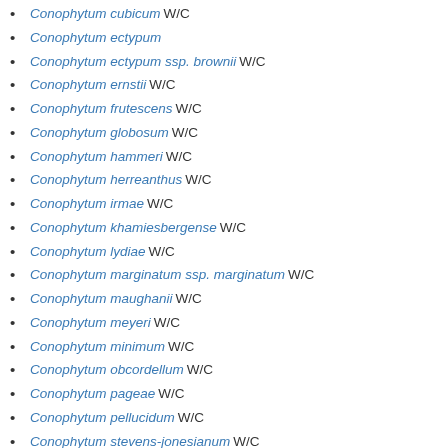Conophytum cubicum W/C [camera] [globe]
Conophytum ectypum [camera] [globe]
Conophytum ectypum ssp. brownii W/C [globe]
Conophytum ernstii W/C [globe]
Conophytum frutescens W/C [globe]
Conophytum globosum W/C [globe]
Conophytum hammeri W/C [globe]
Conophytum herreanthus W/C [camera] [globe]
Conophytum irmae W/C [camera] [globe]
Conophytum khamiesbergense W/C [globe]
Conophytum lydiae W/C [globe]
Conophytum marginatum ssp. marginatum W/C [globe]
Conophytum maughanii W/C [camera] [globe]
Conophytum meyeri W/C [globe]
Conophytum minimum W/C [camera] [globe]
Conophytum obcordellum W/C [camera]
Conophytum pageae W/C [camera] [globe]
Conophytum pellucidum W/C [camera] [globe]
Conophytum stevens-jonesianum W/C [globe]
Conophytum subfenestratum W/C [globe]
Conophytum subterraneum W/C [globe]
Conophytum swanepoelianum ssp. rubrolineatum [globe]